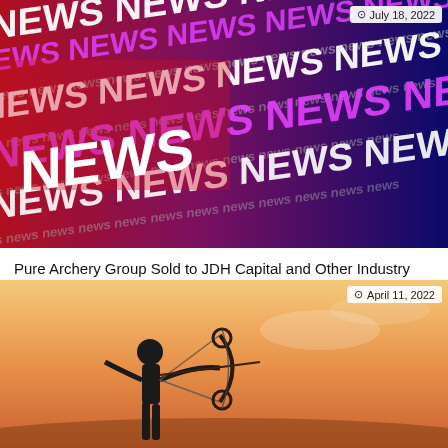[Figure (photo): Abstract background with the word NEWS repeated in large white and magenta text on a red-to-blue gradient background]
July 18, 2022
Pure Archery Group Sold to JDH Capital and Other Industry News
[Figure (photo): Silhouette of an archer drawing a compound bow against a warm orange sunset sky]
April 11, 2022